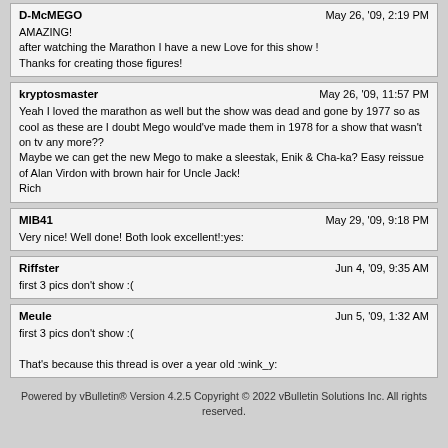D-McMEGO
AMAZING!
after watching the Marathon I have a new Love for this show !
Thanks for creating those figures!
May 26, '09, 2:19 PM
kryptosmaster
Yeah I loved the marathon as well but the show was dead and gone by 1977 so as cool as these are I doubt Mego would've made them in 1978 for a show that wasn't on tv any more??
Maybe we can get the new Mego to make a sleestak, Enik & Cha-ka? Easy reissue of Alan Virdon with brown hair for Uncle Jack!
Rich
May 26, '09, 11:57 PM
MIB41
Very nice! Well done! Both look excellent!:yes:
May 29, '09, 9:18 PM
Riffster
first 3 pics don't show :(
Jun 4, '09, 9:35 AM
Meule
first 3 pics don't show :(
That's because this thread is over a year old :wink_y:
Jun 5, '09, 1:32 AM
Powered by vBulletin® Version 4.2.5 Copyright © 2022 vBulletin Solutions Inc. All rights reserved.